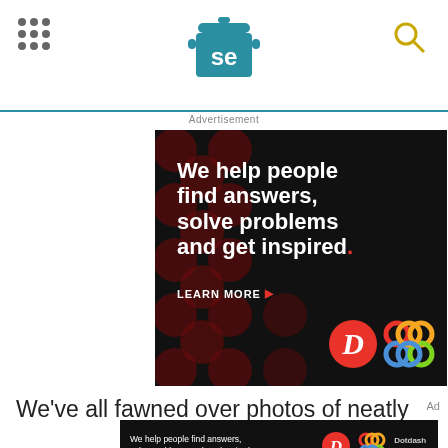Serious Eats logo with navigation dots and search icon
Advertisement
[Figure (illustration): Dotdash Meredith advertisement banner on black background with dark red polka dots. Bold white text reads 'We help people find answers, solve problems and get inspired.' with a red period. 'LEARN MORE' call-to-action with red arrow. Dotdash 'D' logo in red circle and Dotdash Meredith colorful interlocked circles logo.]
We've all fawned over photos of neatly
[Figure (illustration): Small Dotdash Meredith advertisement banner at bottom with white text 'We help people find answers, solve problems and get inspired.' with Dotdash D logo and Dotdash Meredith logo and brand name.]